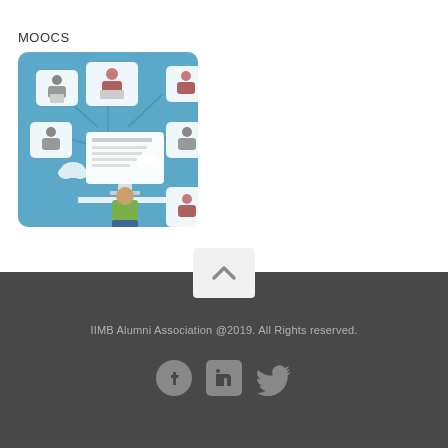MOOCS
[Figure (illustration): Illustration of online learning / MOOC concept: a person sitting at a computer desk, connected via network lines to multiple remote students shown in white rounded-rectangle frames, on a blue background.]
IIMB Alumni Association @2019. All Rights reserved.